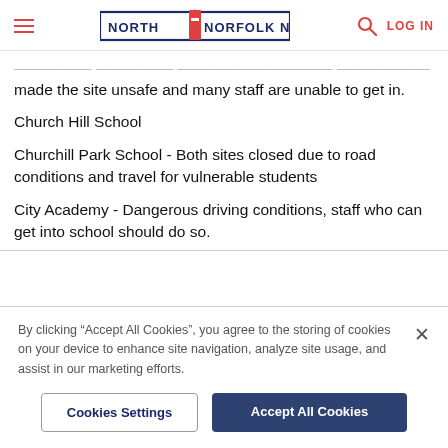NORTH NORFOLK NEWS | LOG IN
made the site unsafe and many staff are unable to get in.
Church Hill School
Churchill Park School - Both sites closed due to road conditions and travel for vulnerable students
City Academy - Dangerous driving conditions, staff who can get into school should do so.
By clicking “Accept All Cookies”, you agree to the storing of cookies on your device to enhance site navigation, analyze site usage, and assist in our marketing efforts.